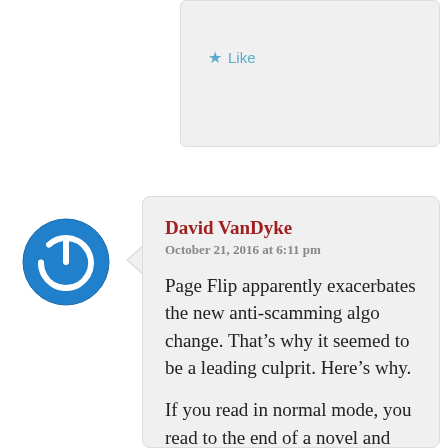Like
David VanDyke
October 21, 2016 at 6:11 pm
Page Flip apparently exacerbates the new anti-scamming algo change. That’s why it seemed to be a leading culprit. Here’s why.
If you read in normal mode, you read to the end of a novel and then you may or may not go back to check something out, or look at the pretty book cover